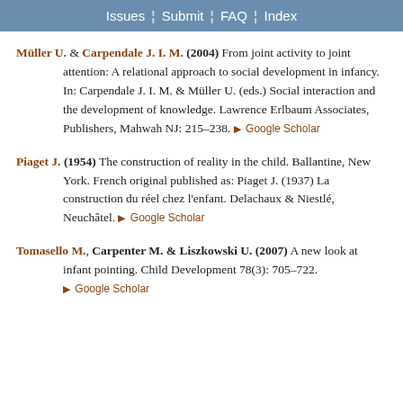Issues | Submit | FAQ | Index
Müller U. & Carpendale J. I. M. (2004) From joint activity to joint attention: A relational approach to social development in infancy. In: Carpendale J. I. M. & Müller U. (eds.) Social interaction and the development of knowledge. Lawrence Erlbaum Associates, Publishers, Mahwah NJ: 215–238. ▶ Google Scholar
Piaget J. (1954) The construction of reality in the child. Ballantine, New York. French original published as: Piaget J. (1937) La construction du réel chez l'enfant. Delachaux & Niestlé, Neuchâtel. ▶ Google Scholar
Tomasello M., Carpenter M. & Liszkowski U. (2007) A new look at infant pointing. Child Development 78(3): 705–722. ▶ Google Scholar